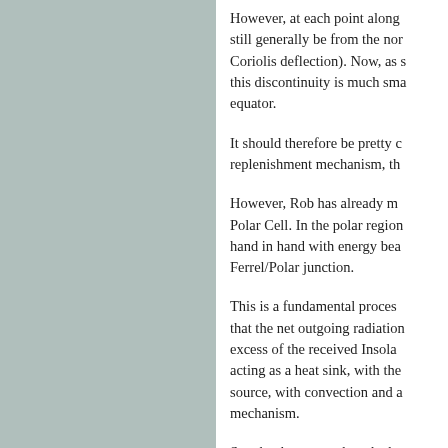However, at each point along still generally be from the nor Coriolis deflection). Now, as s this discontinuity is much sma equator.
It should therefore be pretty c replenishment mechanism, th
However, Rob has already m Polar Cell. In the polar region hand in hand with energy bea Ferrel/Polar junction.
This is a fundamental proces that the net outgoing radiation excess of the received Insola acting as a heat sink, with the source, with convection and a mechanism.
So what happens when the h to snow/ice melt?
In a nutshell, the heat sink re